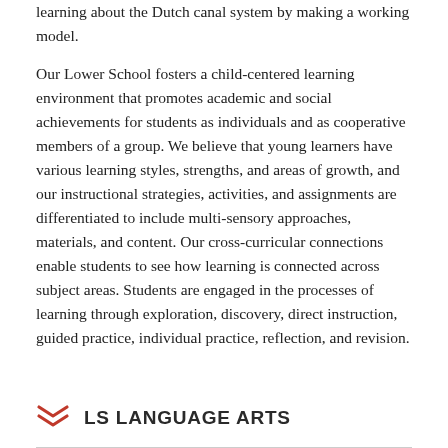learning about the Dutch canal system by making a working model.
Our Lower School fosters a child-centered learning environment that promotes academic and social achievements for students as individuals and as cooperative members of a group. We believe that young learners have various learning styles, strengths, and areas of growth, and our instructional strategies, activities, and assignments are differentiated to include multi-sensory approaches, materials, and content. Our cross-curricular connections enable students to see how learning is connected across subject areas. Students are engaged in the processes of learning through exploration, discovery, direct instruction, guided practice, individual practice, reflection, and revision.
LS LANGUAGE ARTS